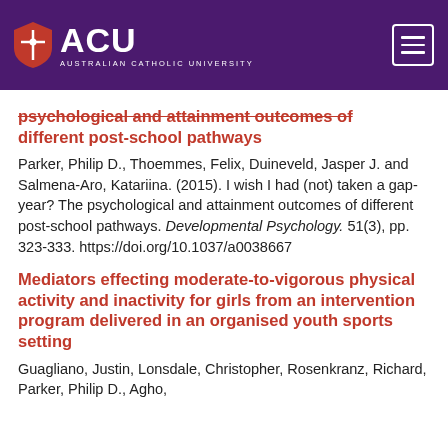[Figure (logo): ACU Australian Catholic University logo with purple background header and hamburger menu icon]
psychological and attainment outcomes of different post-school pathways
Parker, Philip D., Thoemmes, Felix, Duineveld, Jasper J. and Salmena-Aro, Katariina. (2015). I wish I had (not) taken a gap-year? The psychological and attainment outcomes of different post-school pathways. Developmental Psychology. 51(3), pp. 323-333. https://doi.org/10.1037/a0038667
Mediators effecting moderate-to-vigorous physical activity and inactivity for girls from an intervention program delivered in an organised youth sports setting
Guagliano, Justin, Lonsdale, Christopher, Rosenkranz, Richard, Parker, Philip D., Agho,